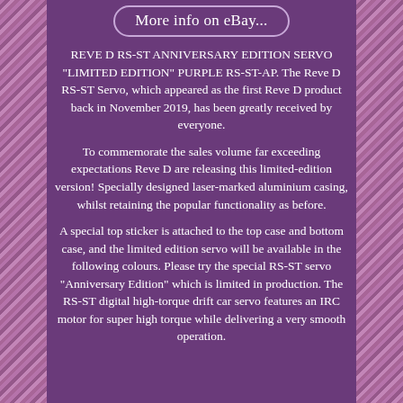[Figure (other): Decorative floral/textured pink and purple patterned side borders on left and right edges]
More info on eBay...
REVE D RS-ST ANNIVERSARY EDITION SERVO "LIMITED EDITION" PURPLE RS-ST-AP. The Reve D RS-ST Servo, which appeared as the first Reve D product back in November 2019, has been greatly received by everyone.
To commemorate the sales volume far exceeding expectations Reve D are releasing this limited-edition version! Specially designed laser-marked aluminium casing, whilst retaining the popular functionality as before.
A special top sticker is attached to the top case and bottom case, and the limited edition servo will be available in the following colours. Please try the special RS-ST servo "Anniversary Edition" which is limited in production. The RS-ST digital high-torque drift car servo features an IRC motor for super high torque while delivering a very smooth operation.